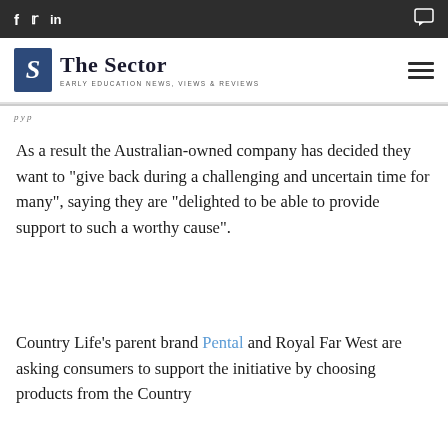f  y  in  [comment icon]  The Sector — EARLY EDUCATION NEWS, VIEWS & REVIEWS
As a result the Australian-owned company has decided they want to “give back during a challenging and uncertain time for many”, saying they are “delighted to be able to provide support to such a worthy cause”.
Country Life’s parent brand Pental and Royal Far West are asking consumers to support the initiative by choosing products from the Country